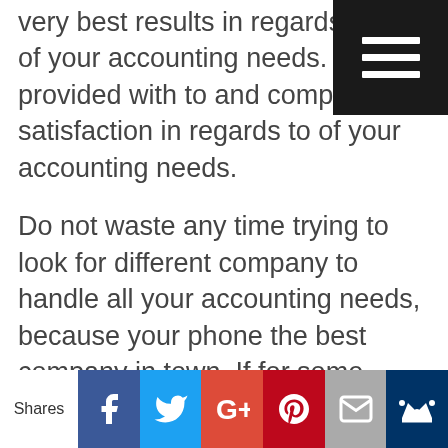very best results in regards to all of your accounting needs. Will provided with to and complete satisfaction in regards to of your accounting needs.
Do not waste any time trying to look for different company to handle all your accounting needs, because your phone the best company in town. If for some reason you are still not completely convinced that we are the right choice for you that by all means please do not hesitate to always give us a call at 918-747-7000 are going to https://hoodcpas.com
[Figure (other): Dark hamburger menu icon (three horizontal white lines on black background) in top-right corner]
Shares | Facebook | Twitter | G+ | Pinterest | Email | Crown